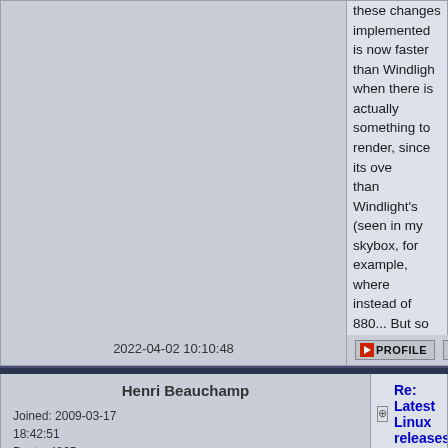these changes implemented is now faster than Windligh... when there is actually something to render, since its ove... than Windlight's (seen in my skybox, for example, where ... instead of 880... But so large a fps rate is useless anywa...
Enjoy !
2022-04-02 10:10:48
Henri Beauchamp
Joined: 2009-03-17 18:42:51
Posts: 4965
Re: Latest Linux releases
Here are two new releases of the Cool VL Viewer, availa... http://sldev.free.fr/:
These are maintenance/bugfix releases and recommend...
Cool VL Viewer v1.28.2.65 (stable branch):
New in this release:
Backported from LL's viewer "ignore getIsAlphaM... faces", i.e. disable rigged faces alpha-masking, w...
Fixed the visually muted avatars jelly-dolls somet... at all.
Worked around the problem with GLOD crashing... profile is used, by automatically falling back to me...